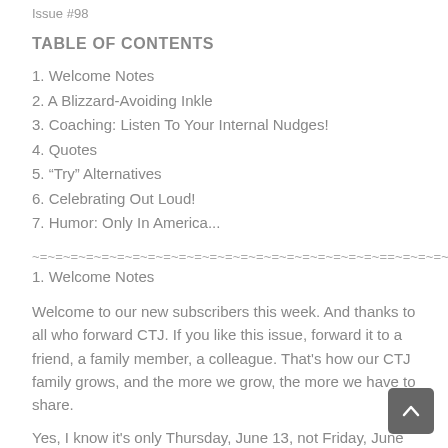Issue #98
TABLE OF CONTENTS
1. Welcome Notes
2. A Blizzard-Avoiding Inkle
3. Coaching: Listen To Your Internal Nudges!
4. Quotes
5. "Try" Alternatives
6. Celebrating Out Loud!
7. Humor: Only In America...
~=~=~=~=~=~=~=~=~=~=~=~=~=~=~=~=~=~=~=~=~=~=~==~=~=~=~=~=~
1. Welcome Notes
Welcome to our new subscribers this week. And thanks to all who forward CTJ. If you like this issue, forward it to a friend, a family member, a colleague. That's how our CTJ family grows, and the more we grow, the more we have to share.
Yes, I know it's only Thursday, June 13, not Friday, June 14. I am headed toward Breitenbush Hot Springs